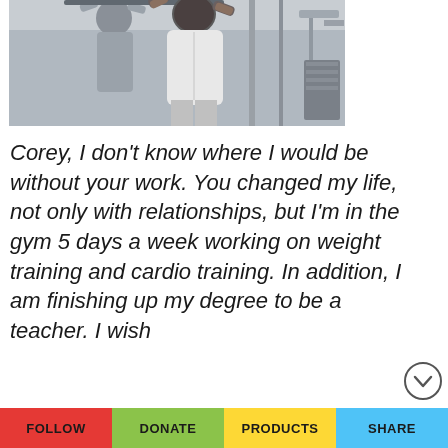[Figure (photo): Two muscular men doing pull-ups or lat pulldown exercises on gym equipment, viewed from behind, wearing sleeveless shirts.]
Corey, I don't know where I would be without your work. You changed my life, not only with relationships, but I'm in the gym 5 days a week working on weight training and cardio training. In addition, I am finishing up my degree to be a teacher. I wish
FOLLOW  DONATE  PRODUCTS  SHARE